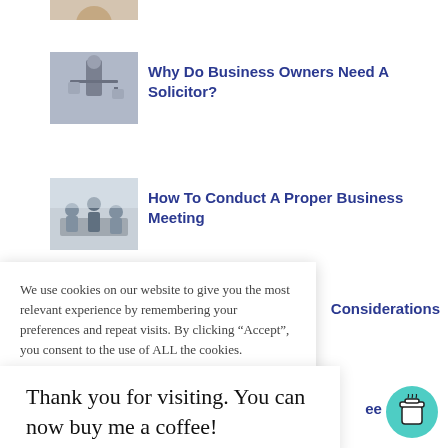[Figure (photo): Partial image of person, cropped at top]
[Figure (photo): Statue of Lady Justice holding scales]
Why Do Business Owners Need A Solicitor?
[Figure (photo): Business meeting scene with people at a table]
How To Conduct A Proper Business Meeting
Considerations
We use cookies on our website to give you the most relevant experience by remembering your preferences and repeat visits. By clicking “Accept”, you consent to the use of ALL the cookies.
Thank you for visiting. You can now buy me a coffee!
ee S
[Figure (photo): Partial thumbnail image at bottom]